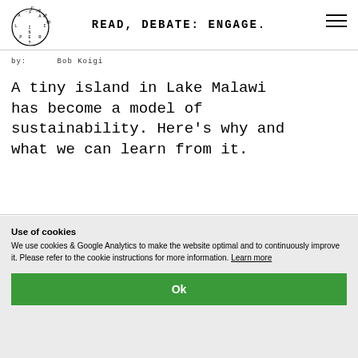READ, DEBATE: ENGAGE.
by:   Bob Koigi
A tiny island in Lake Malawi has become a model of sustainability. Here's why and what we can learn from it.
Use of cookies
We use cookies & Google Analytics to make the website optimal and to continuously improve it. Please refer to the cookie instructions for more information. Learn more
Ok